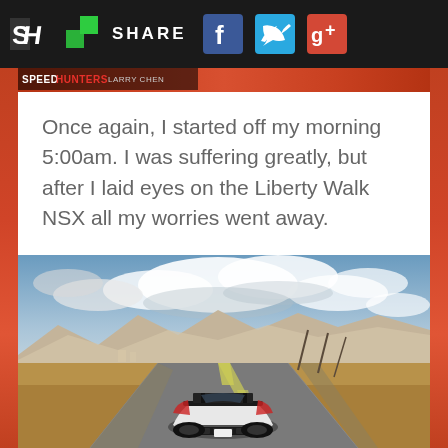[Figure (screenshot): Top navigation bar with SH logo, share icon, SHARE text, Facebook, Twitter, and Google+ social icons on dark background]
[Figure (screenshot): SPEEDHUNTERS LARRY CHEN watermark label]
Once again, I started off my morning 5:00am. I was suffering greatly, but after I laid eyes on the Liberty Walk NSX all my worries went away.
[Figure (photo): Rear view of a white Liberty Walk NSX sports car driving on a desert highway with mountains and dramatic cloudy sky in the background]